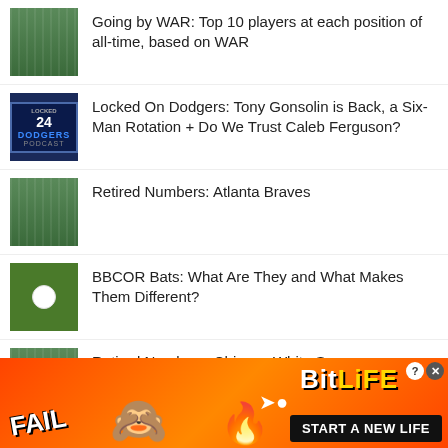Going by WAR: Top 10 players at each position of all-time, based on WAR
Locked On Dodgers: Tony Gonsolin is Back, a Six-Man Rotation + Do We Trust Caleb Ferguson?
Retired Numbers: Atlanta Braves
BBCOR Bats: What Are They and What Makes Them Different?
Retired Numbers: Chicago White Sox
Baseball Players Who Used the Heaviest Bats
[Figure (screenshot): BitLife game advertisement banner with FAIL text, animated face emoji, flames, sperm icon, BitLife logo, and START A NEW LIFE button on orange/red background]